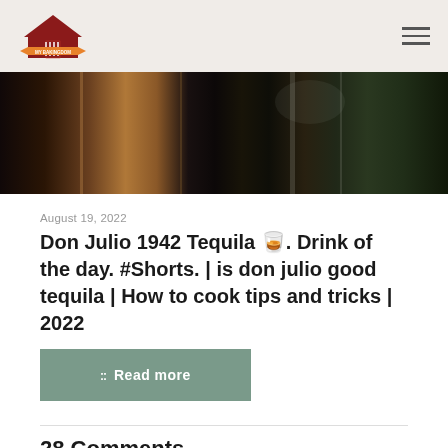MY BAKINGDOM
[Figure (photo): Dark blurry photo collage/mosaic showing bottles and reflections in dim lighting]
August 19, 2022
Don Julio 1942 Tequila 🥃. Drink of the day. #Shorts. | is don julio good tequila | How to cook tips and tricks | 2022
Read more
28 Comments
Val's Life says. May 17, 2022 at 10:32 pm